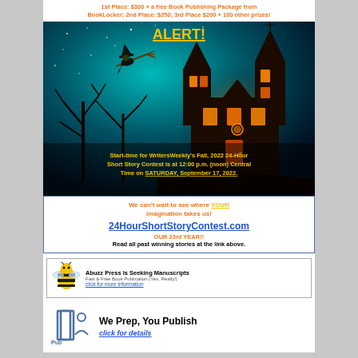1st Place: $300 + a free Book Publishing Package from BookLocker; 2nd Place: $250; 3rd Place $200 + 100 other prizes!
[Figure (illustration): Halloween haunted house scene with dark silhouette of a house with glowing orange windows, bare trees, a witch flying on a broomstick, and a teal/blue night sky. Yellow text 'ALERT!' at the top. Orange text at the bottom: 'Start-time for WritersWeekly's Fall, 2022 24-Hour Short Story Contest is at 12:00 p.m. (noon) Central Time on SATURDAY, September 17, 2022.']
We can't wait to see where YOUR imagination takes us!
24HourShortStoryContest.com
OUR 23rd YEAR!!
Read all past winning stories at the link above.
[Figure (logo): Abuzz Press banner ad with bee logo. Text: 'Abuzz Press Is Seeking Manuscripts. Fast & Free Book Publication (Yes, Really!). click for more information']
[Figure (logo): Pub Preppers logo with text: 'We Prep, You Publish' and 'click for details']